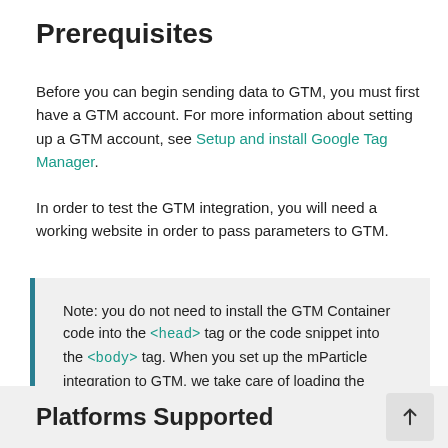Prerequisites
Before you can begin sending data to GTM, you must first have a GTM account. For more information about setting up a GTM account, see Setup and install Google Tag Manager.
In order to test the GTM integration, you will need a working website in order to pass parameters to GTM.
Note: you do not need to install the GTM Container code into the <head> tag or the code snippet into the <body> tag. When you set up the mParticle integration to GTM, we take care of loading the snippet code which in turn loads your configured GTM Container.
Platforms Supported